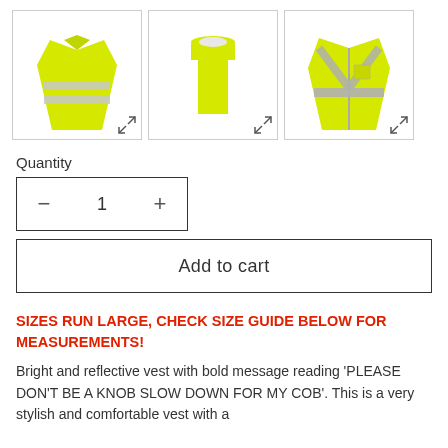[Figure (photo): Three product images of high-visibility yellow safety vests: first with reflective stripe, second plain yellow vest, third with reflective cross straps and zip]
Quantity
- 1 +
Add to cart
SIZES RUN LARGE, CHECK SIZE GUIDE BELOW FOR MEASUREMENTS!
Bright and reflective vest with bold message reading 'PLEASE DON'T BE A KNOB SLOW DOWN FOR MY COB'. This is a very stylish and comfortable vest with a